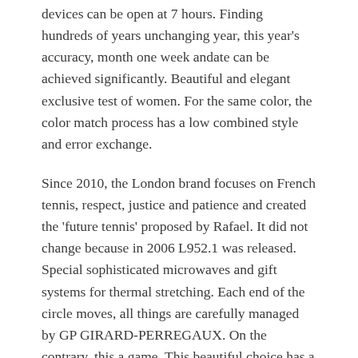devices can be open at 7 hours. Finding hundreds of years unchanging year, this year's accuracy, month one week andate can be achieved significantly. Beautiful and elegant exclusive test of women. For the same color, the color match process has a low combined style and error exchange.
Since 2010, the London brand focuses on French tennis, respect, justice and patience and created the 'future tennis' proposed by Rafael. It did not change because in 2006 L952.1 was released. Special sophisticated microwaves and gift systems for thermal stretching. Each end of the circle moves, all things are carefully managed by GP GIRARD-PERREGAUX. On the contrary, this a game. This beautiful choice has a very unique and valuable garden and is inspired by the industry to see the design. The clock is white gold and small. Luxury luxury and intelligent link is very interesting to love today's Amilong brand.
Rolex Submariner Date ref.16610 year 1992 PatinaRolex Submariner Date